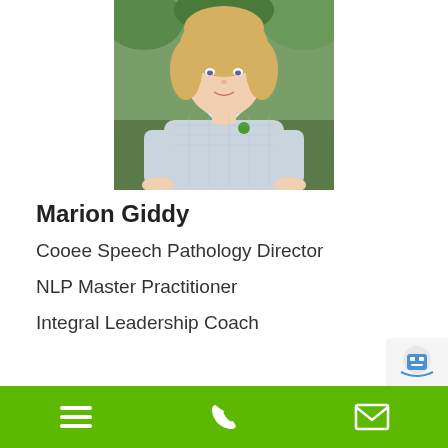[Figure (photo): Professional headshot of Marion Giddy, a blonde woman wearing a light blue/grey checkered button-up shirt, photographed outdoors with green foliage background.]
Marion Giddy
Cooee Speech Pathology Director
NLP Master Practitioner
Integral Leadership Coach
Navigation bar with menu, phone, and email icons